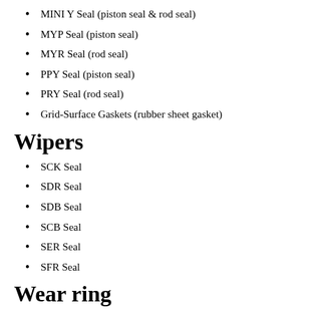MINI Y Seal (piston seal & rod seal)
MYP Seal (piston seal)
MYR Seal (rod seal)
PPY Seal (piston seal)
PRY Seal (rod seal)
Grid-Surface Gaskets (rubber sheet gasket)
Wipers
SCK Seal
SDR Seal
SDB Seal
SCB Seal
SER Seal
SFR Seal
Wear ring
SW Seal (piston seal)
SWA Seal (piston seal)